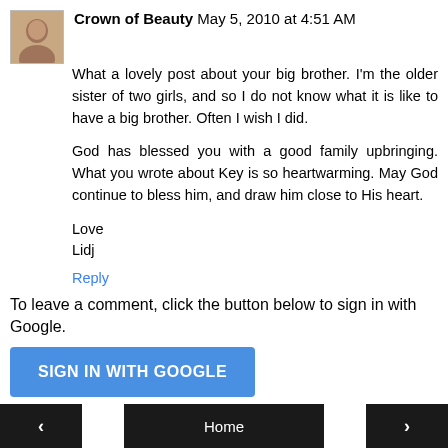Crown of Beauty  May 5, 2010 at 4:51 AM
What a lovely post about your big brother. I'm the older sister of two girls, and so I do not know what it is like to have a big brother. Often I wish I did.

God has blessed you with a good family upbringing. What you wrote about Key is so heartwarming. May God continue to bless him, and draw him close to His heart.

Love
Lidj
Reply
To leave a comment, click the button below to sign in with Google.
SIGN IN WITH GOOGLE
< Home >